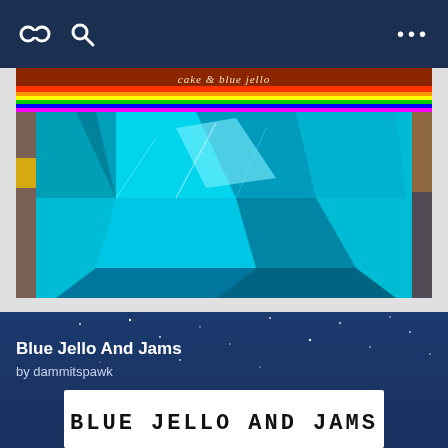[Figure (screenshot): Dark blue navigation bar with two icons on the left (loop/link icon, magnifier icon) and three dots menu on the right]
[Figure (photo): Album art for 'cake & blue jello' showing vivid blue and cyan colored jello cubes with colorful layered streaks]
[Figure (screenshot): Dark blue starry background card showing title 'Blue Jello And Jams' by dammitspawk, with a book cover image below showing the text 'BLUE JELLO AND JAMS' in bold block letters and two people at the bottom]